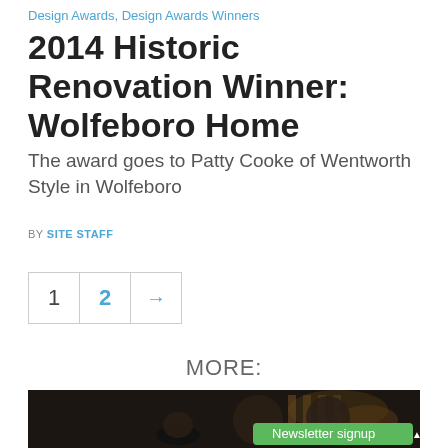Design Awards, Design Awards Winners
2014 Historic Renovation Winner: Wolfeboro Home
The award goes to Patty Cooke of Wentworth Style in Wolfeboro
BY SITE STAFF
1  2  →
MORE:
[Figure (photo): Dark indoor photo showing three people (two women and a man) posing together in what appears to be a bar or restaurant setting, with a green Newsletter signup button overlay in the bottom right]